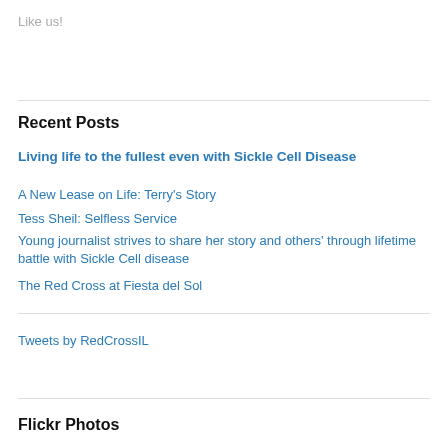Like us!
Recent Posts
Living life to the fullest even with Sickle Cell Disease
A New Lease on Life: Terry's Story
Tess Sheil: Selfless Service
Young journalist strives to share her story and others' through lifetime battle with Sickle Cell disease
The Red Cross at Fiesta del Sol
Tweets by RedCrossIL
Flickr Photos